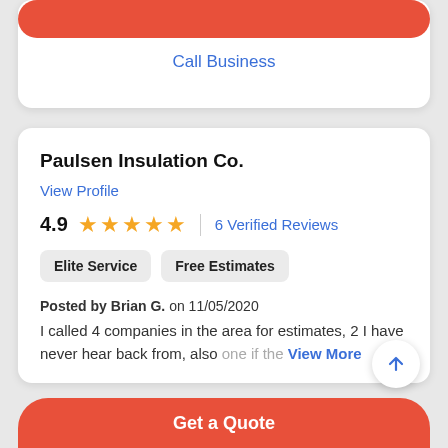Call Business
Paulsen Insulation Co.
View Profile
4.9  ★★★★★  | 6 Verified Reviews
Elite Service
Free Estimates
Posted by Brian G. on 11/05/2020
I called 4 companies in the area for estimates, 2 I have never hear back from, also one if the View More
Get a Quote